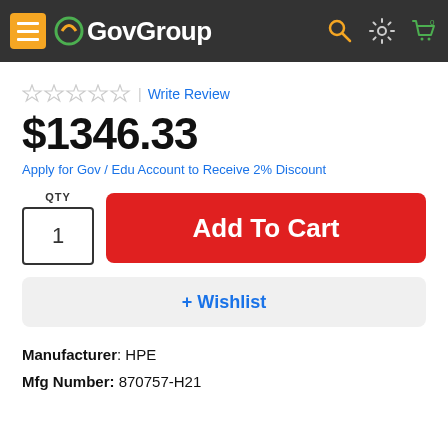GovGroup
☆☆☆☆☆ | Write Review
$1346.33
Apply for Gov / Edu Account to Receive 2% Discount
QTY 1  Add To Cart
+ Wishlist
Manufacturer: HPE
Mfg Number: 870757-H21